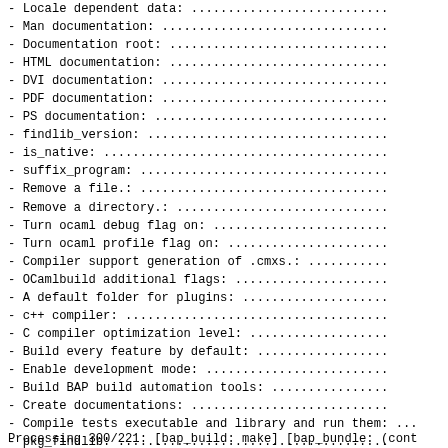- Locale dependent data: ...............................
- Man documentation: ...................................
- Documentation root: ..................................
- HTML documentation: ..................................
- DVI documentation: ...................................
- PDF documentation: ...................................
- PS documentation: ....................................
- findlib_version: .....................................
- is_native: ...........................................
- suffix_program: ......................................
- Remove a file.: ......................................
- Remove a directory.: .................................
- Turn ocaml debug flag on: ............................
- Turn ocaml profile flag on: ..........................
- Compiler support generation of .cmxs.: ...............
- OCamlbuild additional flags: .........................
- A default folder for plugins: ........................
- c++ compiler: ........................................
- C compiler optimization level: .......................
- Build every feature by default: ......................
- Enable development mode: .............................
- Build BAP build automation tools: ....................
- Create documentations: ...............................
- Compile tests executable and library and run them: ...
- pkg_findlib: .........................................
- pkg_ocamlbuild: ......................................
- pkg_core_kernel: .....................................
- pkg_compiler_libs: ...................................
- pkg_ppx_bap: .........................................
-
Processing 300/221: [bap_build: make] [bap_bundle: (cont